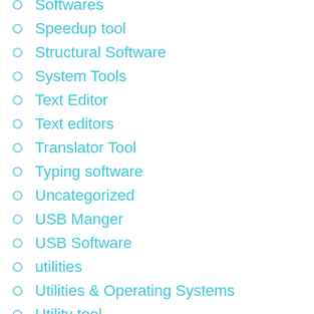Softwares
Speedup tool
Structural Software
System Tools
Text Editor
Text editors
Translator Tool
Typing software
Uncategorized
USB Manger
USB Software
utilities
Utilities & Operating Systems
Utility tool
Utility Tools
Vedio Downloader